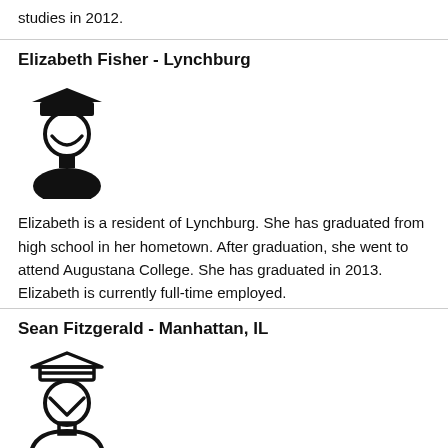studies in 2012.
Elizabeth Fisher - Lynchburg
[Figure (illustration): Graduation cap icon with a face silhouette (filled) representing Elizabeth Fisher]
Elizabeth is a resident of Lynchburg. She has graduated from high school in her hometown. After graduation, she went to attend Augustana College. She has graduated in 2013. Elizabeth is currently full-time employed.
Sean Fitzgerald - Manhattan, IL
[Figure (illustration): Graduation cap icon with a face silhouette (outline) representing Sean Fitzgerald]
Sean is a high school graduate. Sean has a